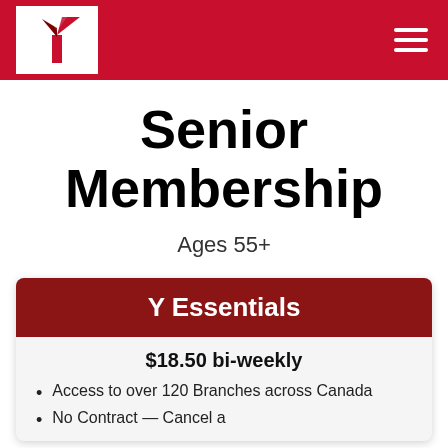YMCA logo and navigation
Senior Membership
Ages 55+
Y Essentials
$18.50 bi-weekly
Access to over 120 Branches across Canada
(partial — cut off at bottom)